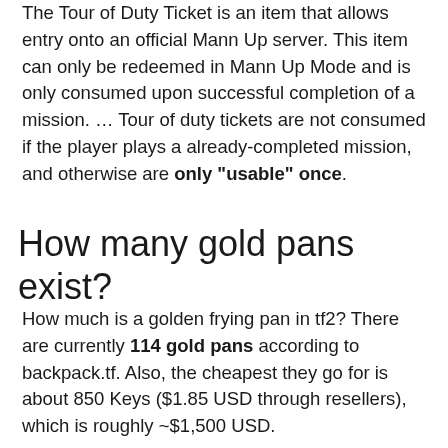The Tour of Duty Ticket is an item that allows entry onto an official Mann Up server. This item can only be redeemed in Mann Up Mode and is only consumed upon successful completion of a mission. … Tour of duty tickets are not consumed if the player plays a already-completed mission, and otherwise are only "usable" once.
How many gold pans exist?
How much is a golden frying pan in tf2? There are currently 114 gold pans according to backpack.tf. Also, the cheapest they go for is about 850 Keys ($1.85 USD through resellers), which is roughly ~$1,500 USD.